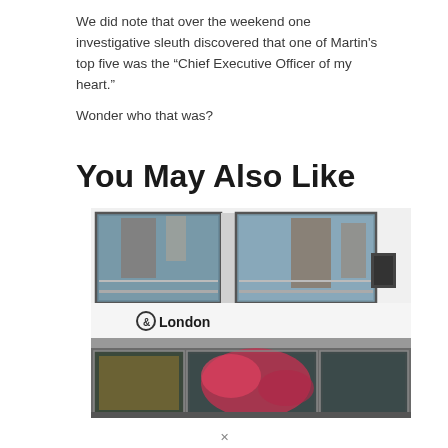We did note that over the weekend one investigative sleuth discovered that one of Martin's top five was the “Chief Executive Officer of my heart.”

Wonder who that was?
You May Also Like
[Figure (photo): Exterior of a store with signage reading '& London', showing large glass windows with reflections of buildings, a white facade, and colorful merchandise visible through the lower windows.]
x